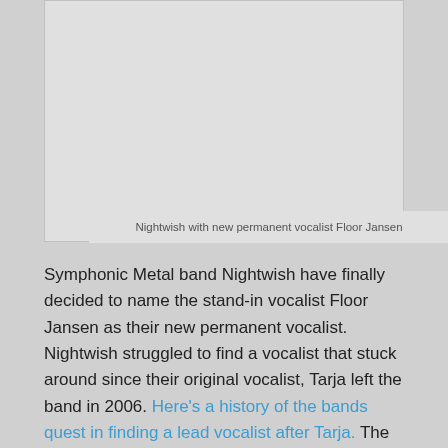[Figure (photo): Photo of Nightwish band with new permanent vocalist Floor Jansen (image area appears light gray/blank in this crop)]
Nightwish with new permanent vocalist Floor Jansen
Symphonic Metal band Nightwish have finally decided to name the stand-in vocalist Floor Jansen as their new permanent vocalist. Nightwish struggled to find a vocalist that stuck around since their original vocalist, Tarja left the band in 2006. Here's a history of the bands quest in finding a lead vocalist after Tarja. The decision is a pretty obvious one, Floor has been the stan-in vocalist for more than a year now. They